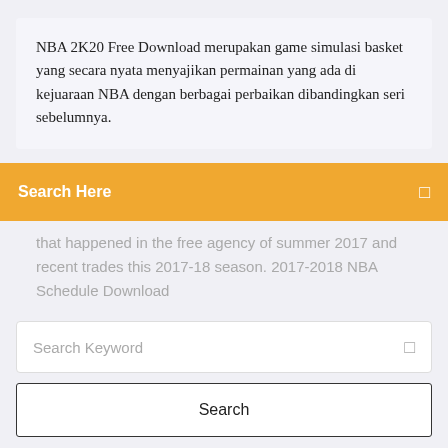NBA 2K20 Free Download merupakan game simulasi basket yang secara nyata menyajikan permainan yang ada di kejuaraan NBA dengan berbagai perbaikan dibandingkan seri sebelumnya.
Search Here
that happened in the free agency of summer 2017 and recent trades this 2017-18 season. 2017-2018 NBA Schedule Download
Search Keyword
Search